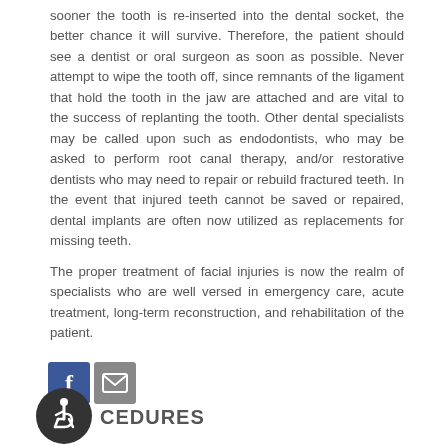sooner the tooth is re-inserted into the dental socket, the better chance it will survive. Therefore, the patient should see a dentist or oral surgeon as soon as possible. Never attempt to wipe the tooth off, since remnants of the ligament that hold the tooth in the jaw are attached and are vital to the success of replanting the tooth. Other dental specialists may be called upon such as endodontists, who may be asked to perform root canal therapy, and/or restorative dentists who may need to repair or rebuild fractured teeth. In the event that injured teeth cannot be saved or repaired, dental implants are often now utilized as replacements for missing teeth.
The proper treatment of facial injuries is now the realm of specialists who are well versed in emergency care, acute treatment, long-term reconstruction, and rehabilitation of the patient.
[Figure (illustration): Social media icons: Facebook (blue square with white f), email/envelope (gray square with white envelope), and accessibility wheelchair symbol (white wheelchair icon on dark circular background)]
CEDURES